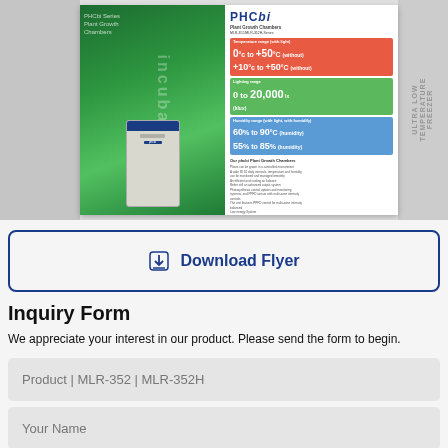[Figure (photo): Product brochure image for PHCbi Plant Growth Chambers (MLR-352 / MLR-352H), showing temperature range 0°C to +50°C / +10°C to +50°C, lighting range 0 to 20,000 lux, humidity range 60% to 90% / 55% to 85%, alongside a photo of the chamber unit and green incubation imagery.]
Download Flyer
Inquiry Form
We appreciate your interest in our product. Please send the form to begin.
Product | MLR-352 | MLR-352H
Your Name